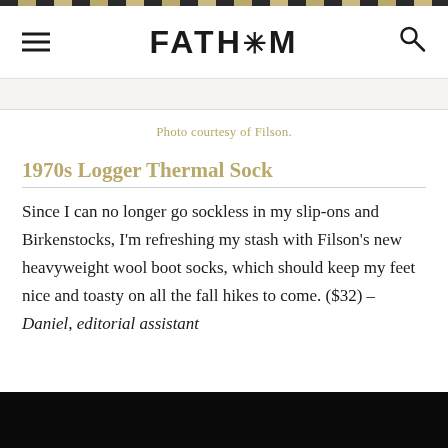FATH*M
Photo courtesy of Filson.
1970s Logger Thermal Sock
Since I can no longer go sockless in my slip-ons and Birkenstocks, I'm refreshing my stash with Filson's new heavyweight wool boot socks, which should keep my feet nice and toasty on all the fall hikes to come. ($32) – Daniel, editorial assistant
[Figure (photo): Dark/black image at bottom of page, partially visible]